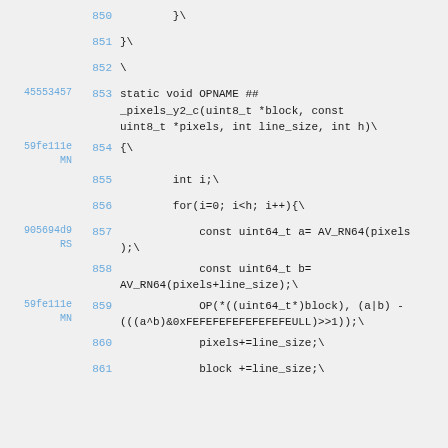850    }\
851    }\
852    \
45553457 853    static void OPNAME ##_pixels_y2_c(uint8_t *block, const uint8_t *pixels, int line_size, int h)\
59fe111eMN 854    {\
           855        int i;\
           856        for(i=0; i<h; i++){\
905694d9RS 857            const uint64_t a= AV_RN64(pixels);\
           858            const uint64_t b= AV_RN64(pixels+line_size);\
59fe111eMN 859            OP(*((uint64_t*)block), (a|b) - (((a^b)&0xFEFEFEFEFEFEFEFEULL)>>1));\
           860            pixels+=line_size;\
           861            block +=line_size;\